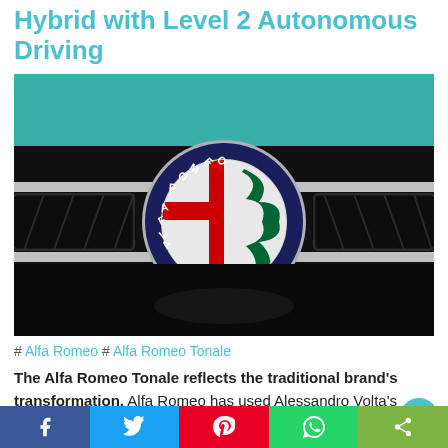Hybrid with Level 2 Autonomous Driving
[Figure (photo): Close-up photo of Alfa Romeo badge/logo on a green car front grille. The circular badge shows the Alfa Romeo emblem with red cross and green serpent on silver background, surrounded by a dark blue ring with 'ALFA ROMEO' text, and a chrome outer ring. The grille is black with geometric honeycomb pattern.]
# Alfa Romeo # Alfa Romeo Tonale
The Alfa Romeo Tonale reflects the traditional brand's transformation. Alfa Romeo has used Alessandro Volta's
f  y  ®  ©  <